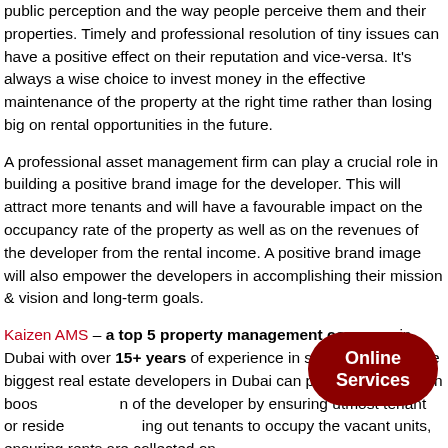public perception and the way people perceive them and their properties. Timely and professional resolution of tiny issues can have a positive effect on their reputation and vice-versa. It's always a wise choice to invest money in the effective maintenance of the property at the right time rather than losing big on rental opportunities in the future.
A professional asset management firm can play a crucial role in building a positive brand image for the developer. This will attract more tenants and will have a favourable impact on the occupancy rate of the property as well as on the revenues of the developer from the rental income. A positive brand image will also empower the developers in accomplishing their mission & vision and long-term goals.
Kaizen AMS – a top 5 property management company in Dubai with over 15+ years of experience in serving some of the biggest real estate developers in Dubai can play a pivotal role in boosting the brand image of the developer by ensuring utmost tenant or resident satisfaction, finding out tenants to occupy the vacant units, ensuring rents are collected on
[Figure (other): Dark red rounded pill/badge button labeled 'Online Services' overlaid on the bottom-right of the text content]